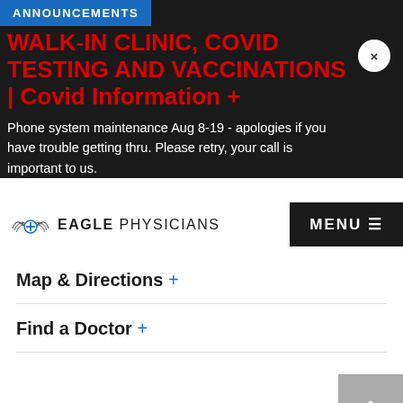ANNOUNCEMENTS
WALK-IN CLINIC, COVID TESTING AND VACCINATIONS | Covid Information +
Phone system maintenance Aug 8-19 - apologies if you have trouble getting thru. Please retry, your call is important to us.
[Figure (logo): Eagle Physicians logo with eagle wings and cross symbol, followed by text EAGLE PHYSICIANS]
Map & Directions +
Find a Doctor +
Eagle Family Medicine & Ob...